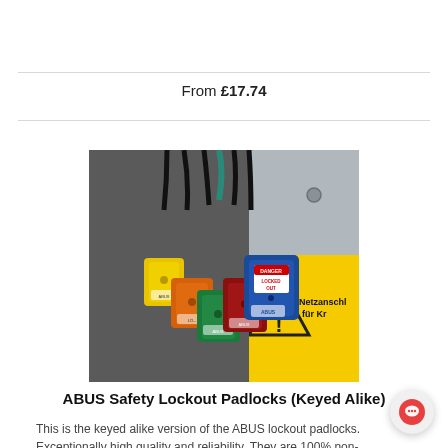From £17.74
[Figure (photo): Multiple ABUS safety lockout padlocks in various colors (yellow, orange, green, red, blue) hanging together with black shackles. A yellow warning sign is visible in the background with text 'Netzanschluss für Kr...'. Blue padlock has a 'DANGER LOCKED OUT' label. ABUS branding visible on multiple locks.]
ABUS Safety Lockout Padlocks (Keyed Alike)
This is the keyed alike version of the ABUS lockout padlocks. Exceptionally high quality and reliability. They are 100% non-